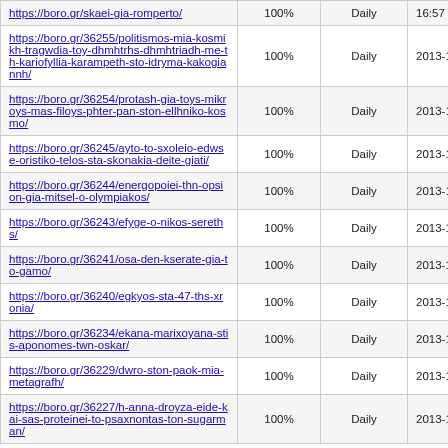| https://boro.gr/skaei-gia-romperto/ | 100% | Daily | 16:57 |
| https://boro.gr/36255/politismos-mia-kosmikh-tragwdia-toy-dhmhtrhs-dhmhtriadh-me-th-kariofyllia-karampeth-sto-idryma-kakogiannh/ | 100% | Daily | 2013-12-15 13:06 |
| https://boro.gr/36254/protash-gia-toys-mikroys-mas-filoys-phter-pan-ston-ellhniko-kosmo/ | 100% | Daily | 2013-12-15 13:02 |
| https://boro.gr/36245/ayto-to-sxoleio-edwse-oristiko-telos-sta-skonakia-deite-giati/ | 100% | Daily | 2013-12-15 12:39 |
| https://boro.gr/36244/energopoiei-thn-opsion-gia-mitsel-o-olympiakos/ | 100% | Daily | 2013-12-15 00:05 |
| https://boro.gr/36243/efyge-o-nikos-sereths/ | 100% | Daily | 2013-12-14 18:23 |
| https://boro.gr/36241/osa-den-kserate-gia-to-gamo/ | 100% | Daily | 2013-12-14 15:17 |
| https://boro.gr/36240/egkyos-sta-47-ths-xronia/ | 100% | Daily | 2013-12-14 15:01 |
| https://boro.gr/36234/ekana-marixoyana-stis-aponomes-twn-oskar/ | 100% | Daily | 2013-12-14 14:26 |
| https://boro.gr/36229/dwro-ston-paok-mia-metagrafh/ | 100% | Daily | 2013-12-14 03:03 |
| https://boro.gr/36227/h-anna-droyza-eide-kai-sas-proteinei-to-psaxnontas-ton-sugarman/ | 100% | Daily | 2013-12-13 22:55 |